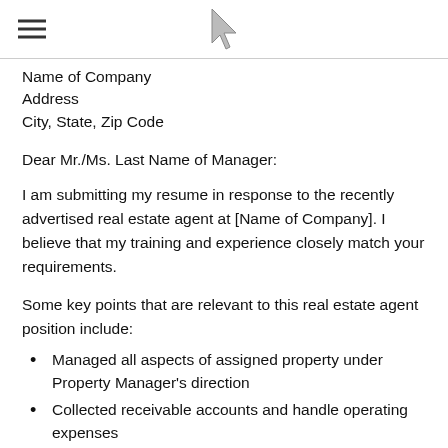[hamburger menu icon] [logo icon]
Name of Company
Address
City, State, Zip Code
Dear Mr./Ms. Last Name of Manager:
I am submitting my resume in response to the recently advertised real estate agent at [Name of Company]. I believe that my training and experience closely match your requirements.
Some key points that are relevant to this real estate agent position include:
Managed all aspects of assigned property under Property Manager's direction
Collected receivable accounts and handle operating expenses
Maintained a positive, productive relationship with